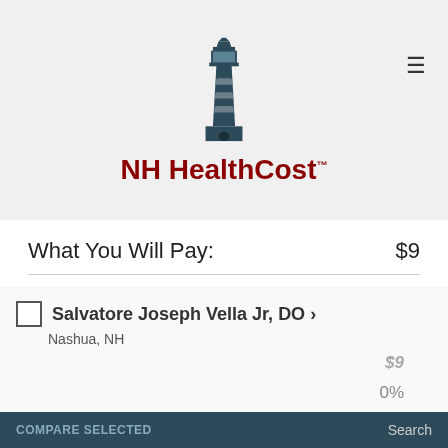[Figure (logo): NH HealthCost lighthouse logo with text 'NH HealthCost TM']
What You Will Pay: $9
Salvatore Joseph Vella Jr, DO > Nashua, NH
$9
0%
What You Will Pay: $9
This site uses cookies to enhance your browsing experience. By continuing to use this site, you agree to the use of cookies, in accordance with the NH website Privacy Policy
OK ✓
COMPARE SELECTED
Search